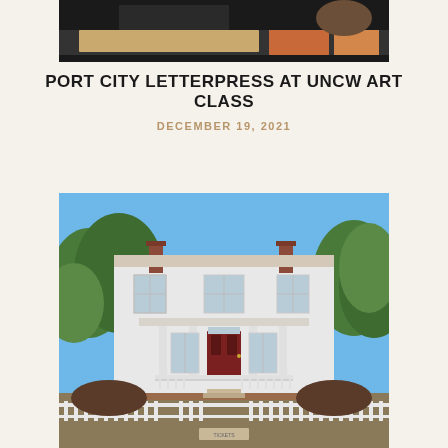[Figure (photo): Partial top view of a letterpress printing workspace with a cutting board and orange carrot-like objects visible]
PORT CITY LETTERPRESS AT UNCW ART CLASS
DECEMBER 19, 2021
[Figure (photo): Exterior photo of a large white colonial two-story house with red door, front porch with white columns, white picket fence, and green trees in background under blue sky]